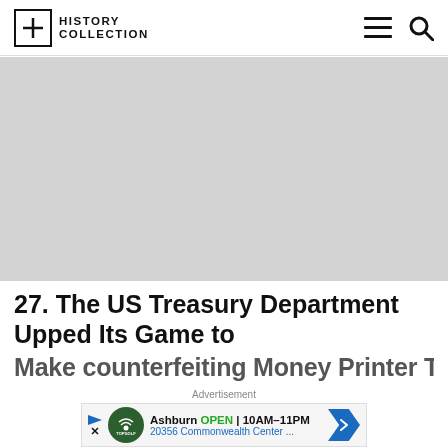History Collection
[Figure (photo): Gray placeholder image area]
27. The US Treasury Department Upped Its Game to
Advertisement
Ashburn OPEN 10AM–11PM 20356 Commonwealth Center ...